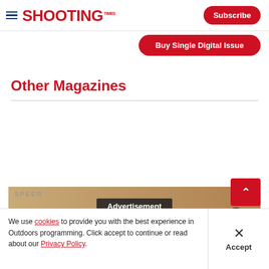Shooting Times — Subscribe | Buy Single Digital Issue
Other Magazines
[Figure (screenshot): Advertisement banner showing Speer Press-On imagery with tan/brown background]
We use cookies to provide you with the best experience in Outdoors programming. Click accept to continue or read about our Privacy Policy.